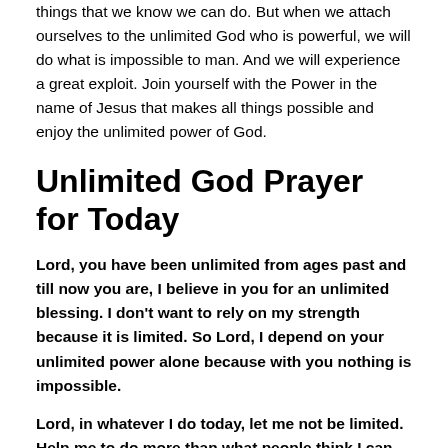things that we know we can do. But when we attach ourselves to the unlimited God who is powerful, we will do what is impossible to man. And we will experience a great exploit. Join yourself with the Power in the name of Jesus that makes all things possible and enjoy the unlimited power of God.
Unlimited God Prayer for Today
Lord, you have been unlimited from ages past and till now you are, I believe in you for an unlimited blessing. I don't want to rely on my strength because it is limited. So Lord, I depend on your unlimited power alone because with you nothing is impossible.
Lord, in whatever I do today, let me not be limited. Help me to do more than what people think I can do. Let your presence go forth with me and energize me to do more.